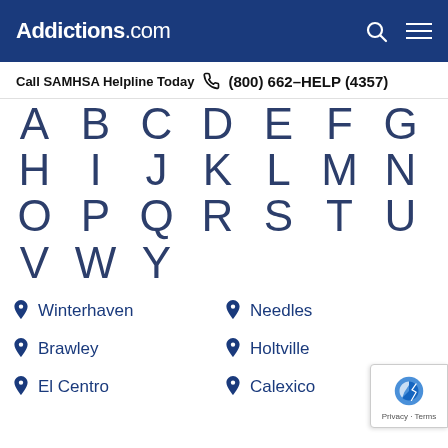Addictions.com
Call SAMHSA Helpline Today  (800) 662-HELP (4357)
A B C D E F G
H I J K L M N
O P Q R S T U
V W Y
Winterhaven
Needles
Brawley
Holtville
El Centro
Calexico